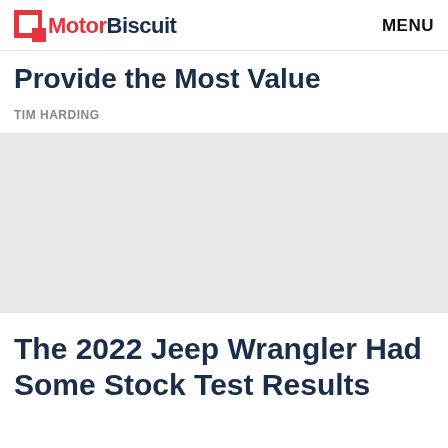MotorBiscuit  MENU
Provide the Most Value
TIM HARDING
[Figure (other): Gray advertisement placeholder block]
The 2022 Jeep Wrangler Had Some Stock Test Results